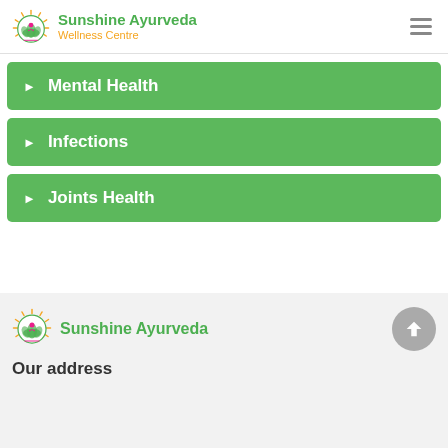Sunshine Ayurveda Wellness Centre
Mental Health
Infections
Joints Health
[Figure (logo): Sunshine Ayurveda logo with sun and lotus icon]
Our address